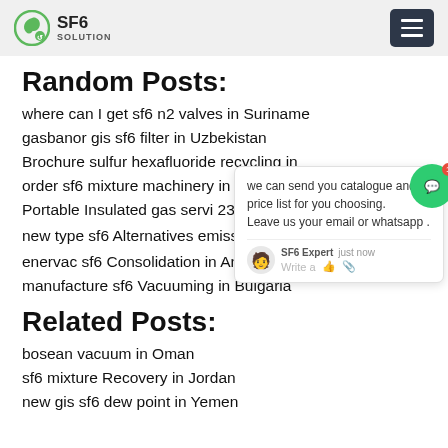SF6 SOLUTION
Random Posts:
where can I get sf6 n2 valves in Suriname
gasbanor gis sf6 filter in Uzbekistan
Brochure sulfur hexafluoride recycling in
order sf6 mixture machinery in Liberia
Portable Insulated gas servi 231 os in E
new type sf6 Alternatives emissions
enervac sf6 Consolidation in Angola
manufacture sf6 Vacuuming in Bulgaria
Related Posts:
bosean vacuum in Oman
sf6 mixture Recovery in Jordan
new gis sf6 dew point in Yemen